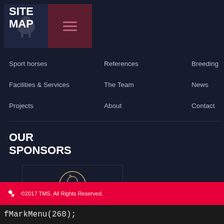SITE MAP
Sport horses
References
Breeding
Facilities & Services
The Team
News
Projects
About
Contact
OUR SPONSORS
[Figure (logo): Vestrum logo — circular horse head emblem above the text VESTRUM in gold/tan color]
©2017 TMS. All Rights Reserved.
fMarkMenu(260);